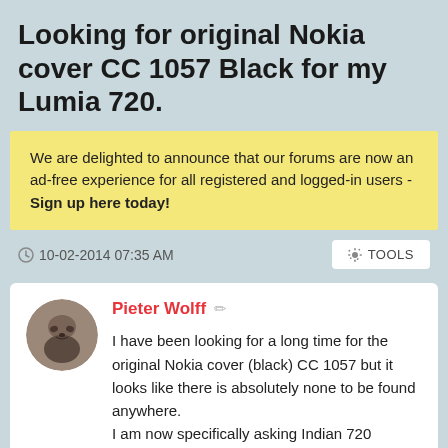Looking for original Nokia cover CC 1057 Black for my Lumia 720.
We are delighted to announce that our forums are now an ad-free experience for all registered and logged-in users - Sign up here today!
10-02-2014 07:35 AM
TOOLS
Pieter Wolff
I have been looking for a long time for the original Nokia cover (black) CC 1057 but it looks like there is absolutely none to be found anywhere.
I am now specifically asking Indian 720 owners to